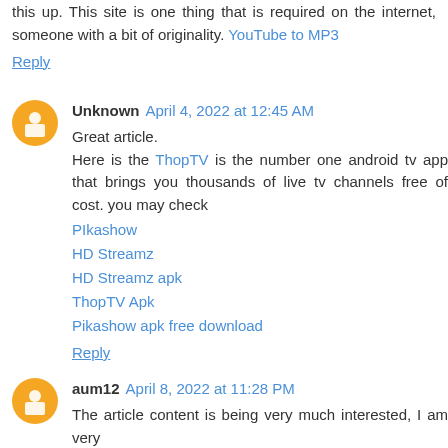this up. This site is one thing that is required on the internet, someone with a bit of originality. YouTube to MP3
Reply
Unknown April 4, 2022 at 12:45 AM
Great article.
Here is the ThopTV is the number one android tv app that brings you thousands of live tv channels free of cost. you may check
PIkashow
HD Streamz
HD Streamz apk
ThopTV Apk
Pikashow apk free download
Reply
aum12 April 8, 2022 at 11:28 PM
The article content is being very much interested, I am very